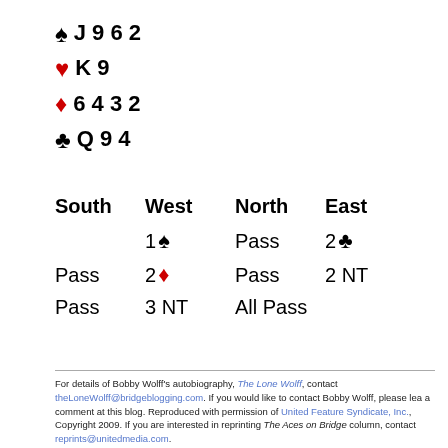♠ J 9 6 2
♥ K 9
♦ 6 4 3 2
♣ Q 9 4
| South | West | North | East |
| --- | --- | --- | --- |
|  | 1♠ | Pass | 2♣ |
| Pass | 2♦ | Pass | 2 NT |
| Pass | 3 NT | All Pass |  |
For details of Bobby Wolff's autobiography, The Lone Wolff, contact theLoneWolff@bridgeblogging.com. If you would like to contact Bobby Wolff, please lea a comment at this blog. Reproduced with permission of United Feature Syndicate, Inc., Copyright 2009. If you are interested in reprinting The Aces on Bridge column, contact reprints@unitedmedia.com.